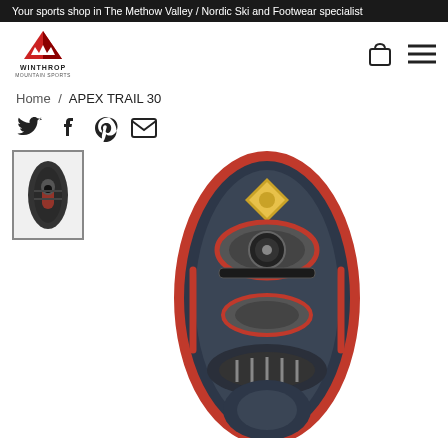Your sports shop in The Methow Valley / Nordic Ski and Footwear specialist
[Figure (logo): Winthrop Mountain Sports logo with mountain peak graphic and red/black text]
Home / APEX TRAIL 30
[Figure (illustration): Social share icons: Twitter, Facebook, Pinterest, Email]
[Figure (photo): Thumbnail product image of APEX TRAIL 30 snowshoe viewed from above, dark grey and red colorway]
[Figure (photo): Main large product image of APEX TRAIL 30 snowshoe viewed from above, showing dark grey frame with red accents and black binding system with BOA dial]